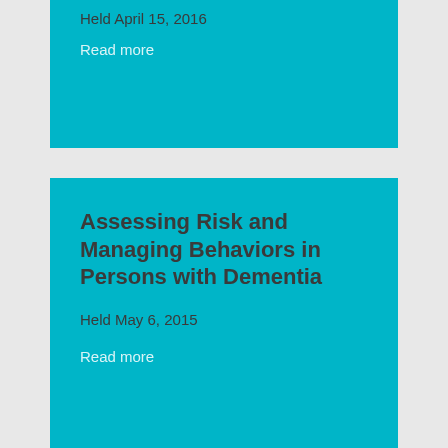Held April 15, 2016
Read more
Assessing Risk and Managing Behaviors in Persons with Dementia
Held May 6, 2015
Read more